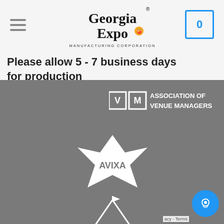[Figure (logo): Georgia Expo Manufacturing Corporation logo with peach graphic]
Please allow 5 - 7 business days for production
[Figure (logo): Association of Venue Managers (AVM) logo with VM lettering]
[Figure (logo): AVIXA logo — white star/lightning bolt shape with AVIXA text]
[Figure (logo): MATRA MEMBER logo — white tent/marquee illustration with text]